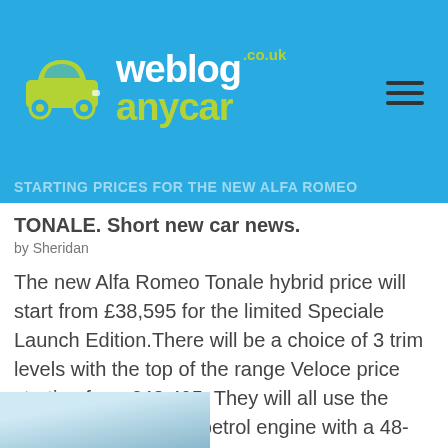[Figure (logo): webloganycar.co.uk logo with green car icon on blue background header]
TONALE. Short new car news.
by Sheridan
The new Alfa Romeo Tonale hybrid price will start from £38,595 for the limited Speciale Launch Edition.There will be a choice of 3 trim levels with the top of the range Veloce price starting from £42,495. They will all use the same 1.5 litre 160hp petrol engine with a 48-volt 15-kW electric motor and a [...]
[Figure (photo): Partial thumbnail image of a car at the bottom left]